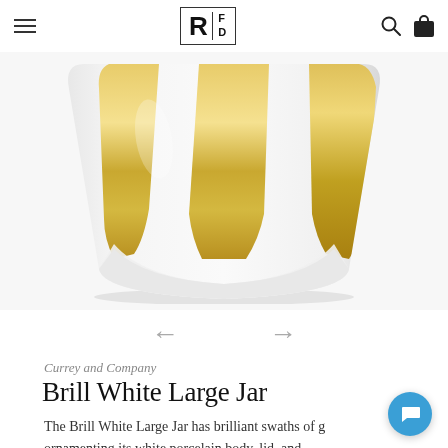RFD — Navigation header with hamburger menu, logo, search and cart icons
[Figure (photo): A white porcelain jar with brushed gold/metallic vertical stripe decorations on the upper body, tapering cylindrical form, viewed from above at an angle. Photographed on white background.]
← →
Currey and Company
Brill White Large Jar
The Brill White Large Jar has brilliant swaths of g ornamenting its white porcelain body, lid, and handle. The artisan who creates this family of